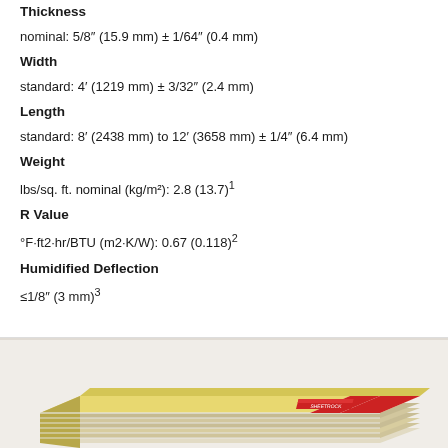Thickness
nominal: 5/8″ (15.9 mm) ± 1/64″ (0.4 mm)
Width
standard: 4′ (1219 mm) ± 3/32″ (2.4 mm)
Length
standard: 8′ (2438 mm) to 12′ (3658 mm) ± 1/4″ (6.4 mm)
Weight
lbs/sq. ft. nominal (kg/m²): 2.8 (13.7)1
R Value
°F·ft2·hr/BTU (m2·K/W): 0.67 (0.118)2
Humidified Deflection
≤1/8″ (3 mm)3
[Figure (photo): Stack of drywall/gypsum board sheets shown at an angle, with yellow facing and red/white label visible on the edge.]